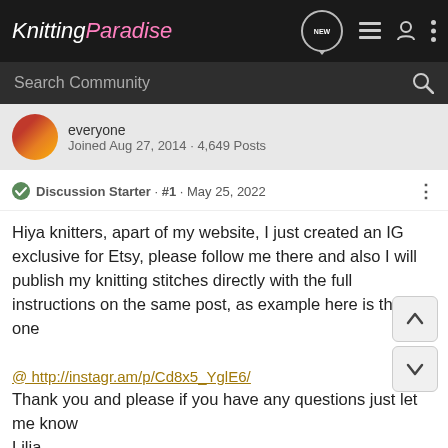Knitting Paradise
Search Community
everyone
Joined Aug 27, 2014 · 4,649 Posts
Discussion Starter · #1 · May 25, 2022
Hiya knitters, apart of my website, I just created an IG exclusive for Etsy, please follow me there and also I will publish my knitting stitches directly with the full instructions on the same post, as example here is the first one

@ http://instagr.am/p/Cd8x5_YglE6/
Thank you and please if you have any questions just let me know
Lilia